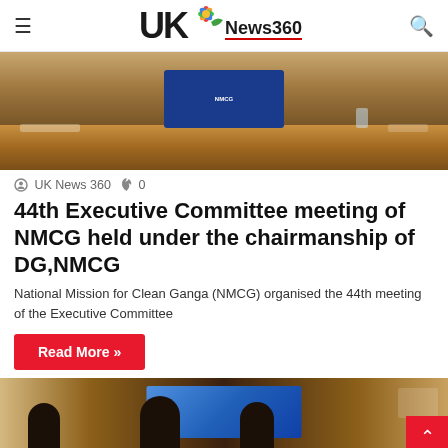UK News 360
[Figure (photo): Conference room photo showing wooden table and blue banner/signage in the background]
UK News 360  🔥 0
44th Executive Committee meeting of NMCG held under the chairmanship of DG,NMCG
National Mission for Clean Ganga (NMCG) organised the 44th meeting of the Executive Committee
Read More »
[Figure (photo): People seated at a conference table with a blue presentation screen in the background]